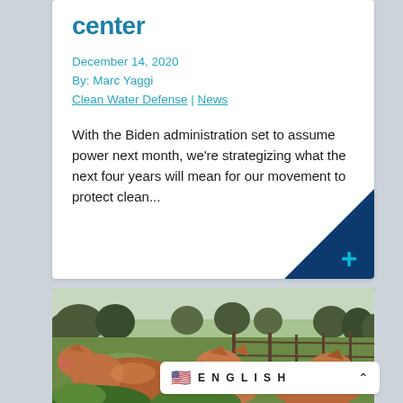center
December 14, 2020
By: Marc Yaggi
Clean Water Defense | News
With the Biden administration set to assume power next month, we're strategizing what the next four years will mean for our movement to protect clean...
[Figure (photo): Photograph of several pigs from behind, standing in a grassy outdoor farm setting with trees and a fence in the background.]
ENGLISH